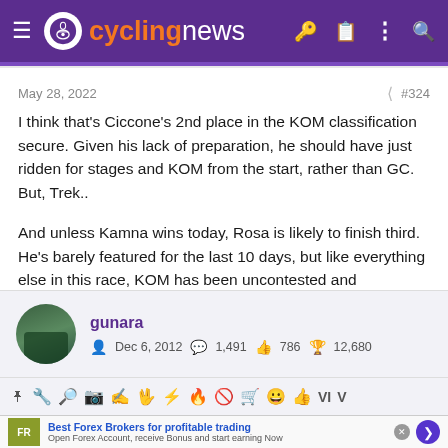cyclingnews
May 28, 2022    #324
I think that's Ciccone's 2nd place in the KOM classification secure. Given his lack of preparation, he should have just ridden for stages and KOM from the start, rather than GC. But, Trek..

And unless Kamna wins today, Rosa is likely to finish third. He's barely featured for the last 10 days, but like everything else in this race, KOM has been uncontested and uneventful.
gunara  Dec 6, 2012  1,491  786  12,680